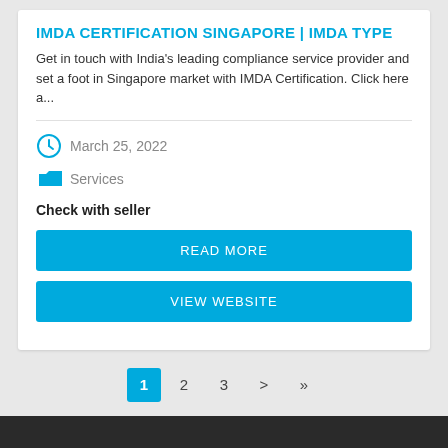IMDA CERTIFICATION SINGAPORE | IMDA TYPE
Get in touch with India's leading compliance service provider and set a foot in Singapore market with IMDA Certification. Click here a...
March 25, 2022
Services
Check with seller
READ MORE
VIEW WEBSITE
1  2  3  >  »
No purchase requirements